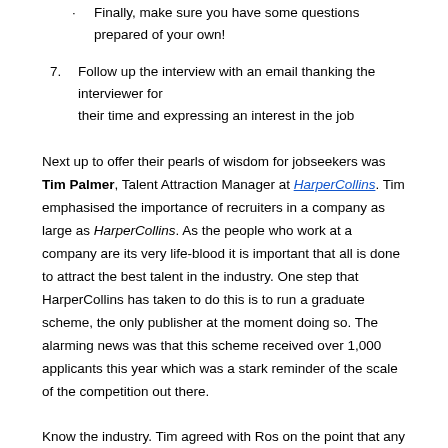Finally, make sure you have some questions prepared of your own!
7. Follow up the interview with an email thanking the interviewer for their time and expressing an interest in the job
Next up to offer their pearls of wisdom for jobseekers was Tim Palmer, Talent Attraction Manager at HarperCollins. Tim emphasised the importance of recruiters in a company as large as HarperCollins. As the people who work at a company are its very life-blood it is important that all is done to attract the best talent in the industry. One step that HarperCollins has taken to do this is to run a graduate scheme, the only publisher at the moment doing so. The alarming news was that this scheme received over 1,000 applicants this year which was a stark reminder of the scale of the competition out there.
Know the industry. Tim agreed with Ros on the point that any interviewer will expect you to be up-to-date with what is happening in the industry –